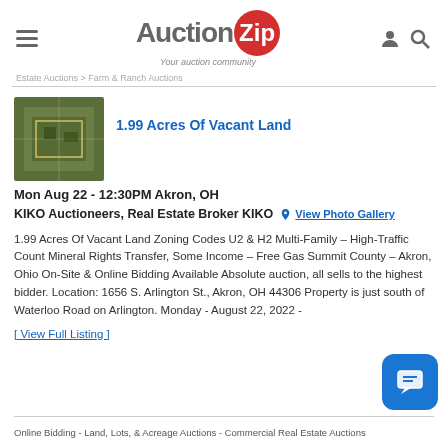[Figure (logo): AuctionZip logo with red circle containing 'Zip' text and tagline 'Your auction community']
Estate Auctions > Farm & Ranch Auctions
[Figure (photo): Aerial photo of 1.99 acres vacant land]
1.99 Acres Of Vacant Land
Mon Aug 22 - 12:30PM Akron, OH
KIKO Auctioneers, Real Estate Broker KIKO   View Photo Gallery
1.99 Acres Of Vacant Land Zoning Codes U2 & H2 Multi-Family – High-Traffic Count Mineral Rights Transfer, Some Income – Free Gas Summit County – Akron, Ohio On-Site & Online Bidding Available Absolute auction, all sells to the highest bidder. Location: 1656 S. Arlington St., Akron, OH 44306 Property is just south of Waterloo Road on Arlington. Monday - August 22, 2022 -
[ View Full Listing ]
Online Bidding - Land, Lots, & Acreage Auctions - Commercial Real Estate Auctions